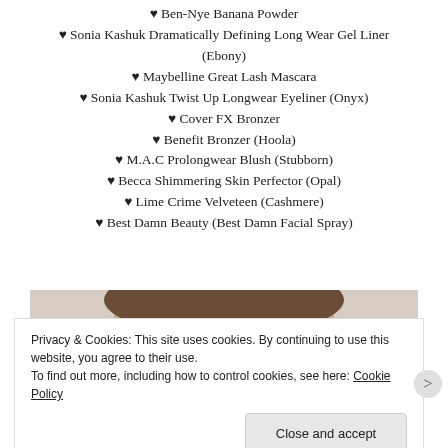♥ Ben-Nye Banana Powder
♥ Sonia Kashuk Dramatically Defining Long Wear Gel Liner (Ebony)
♥ Maybelline Great Lash Mascara
♥ Sonia Kashuk Twist Up Longwear Eyeliner (Onyx)
♥ Cover FX Bronzer
♥ Benefit Bronzer (Hoola)
♥ M.A.C Prolongwear Blush (Stubborn)
♥ Becca Shimmering Skin Perfector (Opal)
♥ Lime Crime Velveteen (Cashmere)
♥ Best Damn Beauty (Best Damn Facial Spray)
[Figure (photo): Close-up photo of a woman's face showing makeup]
Privacy & Cookies: This site uses cookies. By continuing to use this website, you agree to their use. To find out more, including how to control cookies, see here: Cookie Policy
Close and accept